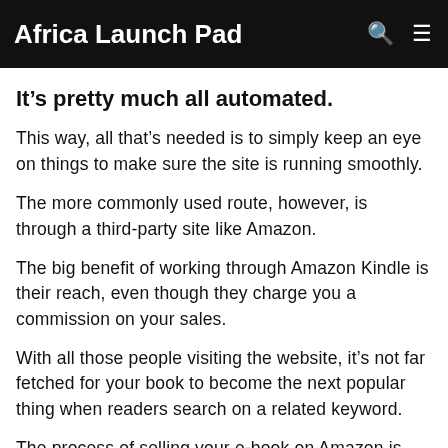Africa Launch Pad
It’s pretty much all automated.
This way, all that’s needed is to simply keep an eye on things to make sure the site is running smoothly.
The more commonly used route, however, is through a third-party site like Amazon.
The big benefit of working through Amazon Kindle is their reach, even though they charge you a commission on your sales.
With all those people visiting the website, it’s not far fetched for your book to become the next popular thing when readers search on a related keyword.
The process of selling your e-book on Amazon is pretty straightforward.